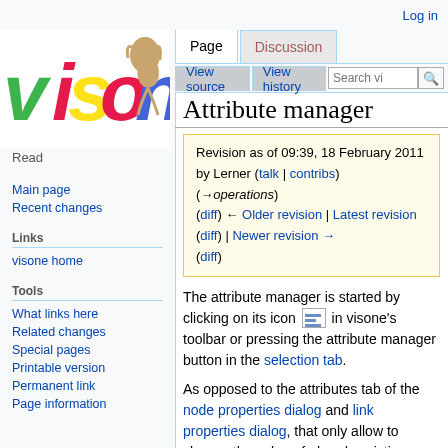Log in
[Figure (logo): visone logo with colorful letters and a figure]
Read
Page | Discussion | View source | View history | Search visone
Attribute manager
Revision as of 09:39, 18 February 2011 by Lerner (talk | contribs) (→operations)
(diff) ← Older revision | Latest revision (diff) | Newer revision → (diff)
The attribute manager is started by clicking on its icon in visone's toolbar or pressing the attribute manager button in the selection tab.
As opposed to the attributes tab of the node properties dialog and link properties dialog, that only allow to change the value of already existing
Main page
Recent changes
Links
visone home
Tools
What links here
Related changes
Special pages
Printable version
Permanent link
Page information